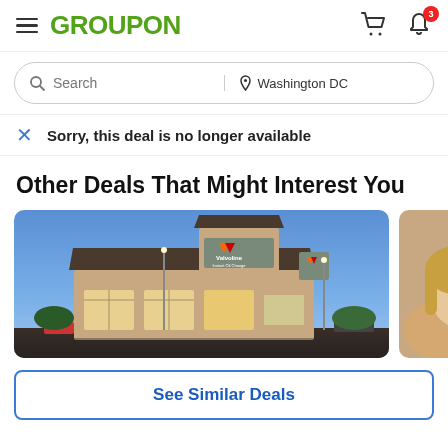GROUPON
Search | Washington DC
Sorry, this deal is no longer available
Other Deals That Might Interest You
[Figure (photo): Valvoline Instant Oil Change retail building at dusk with illuminated signage]
[Figure (photo): Partial view of a second deal card showing a person]
See Similar Deals